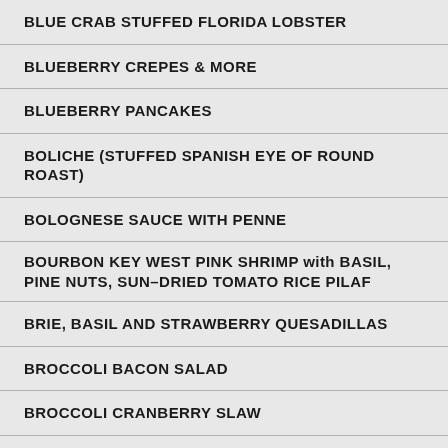BLUE CRAB STUFFED FLORIDA LOBSTER
BLUEBERRY CREPES & MORE
BLUEBERRY PANCAKES
BOLICHE (STUFFED SPANISH EYE OF ROUND ROAST)
BOLOGNESE SAUCE WITH PENNE
BOURBON KEY WEST PINK SHRIMP with BASIL, PINE NUTS, SUN-DRIED TOMATO RICE PILAF
BRIE, BASIL AND STRAWBERRY QUESADILLAS
BROCCOLI BACON SALAD
BROCCOLI CRANBERRY SLAW